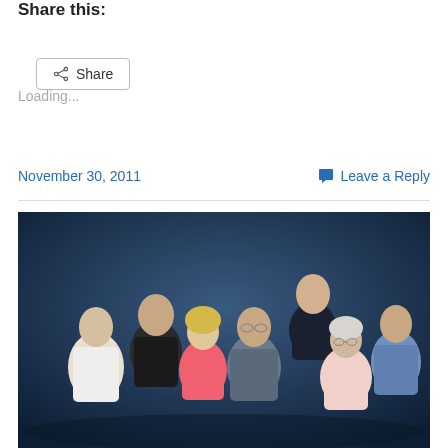Share this:
Share (button)
Loading...
November 30, 2011
Leave a Reply
[Figure (photo): Group photo of seven people posing together against a dark blue background. Six adults standing and one older woman in front. They are smiling at the camera.]